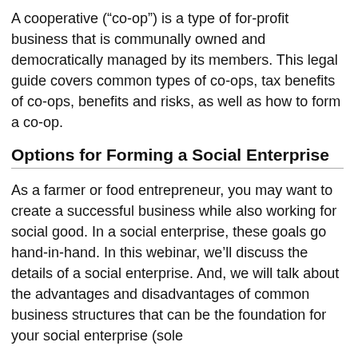A cooperative ("co-op") is a type of for-profit business that is communally owned and democratically managed by its members. This legal guide covers common types of co-ops, tax benefits of co-ops, benefits and risks, as well as how to form a co-op.
Options for Forming a Social Enterprise
As a farmer or food entrepreneur, you may want to create a successful business while also working for social good. In a social enterprise, these goals go hand-in-hand. In this webinar, we'll discuss the details of a social enterprise. And, we will talk about the advantages and disadvantages of common business structures that can be the foundation for your social enterprise (sole